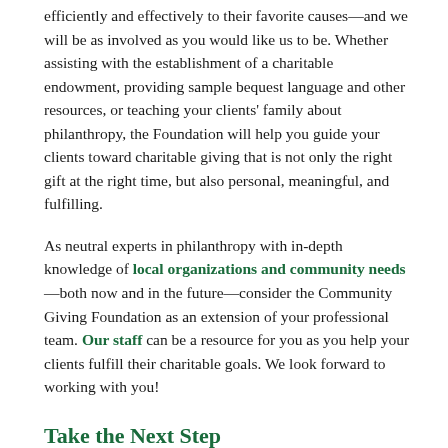efficiently and effectively to their favorite causes—and we will be as involved as you would like us to be. Whether assisting with the establishment of a charitable endowment, providing sample bequest language and other resources, or teaching your clients' family about philanthropy, the Foundation will help you guide your clients toward charitable giving that is not only the right gift at the right time, but also personal, meaningful, and fulfilling.
As neutral experts in philanthropy with in-depth knowledge of local organizations and community needs—both now and in the future—consider the Community Giving Foundation as an extension of your professional team. Our staff can be a resource for you as you help your clients fulfill their charitable goals. We look forward to working with you!
Take the Next Step
Why work with us? The Community Giving Foundation answers your questions.